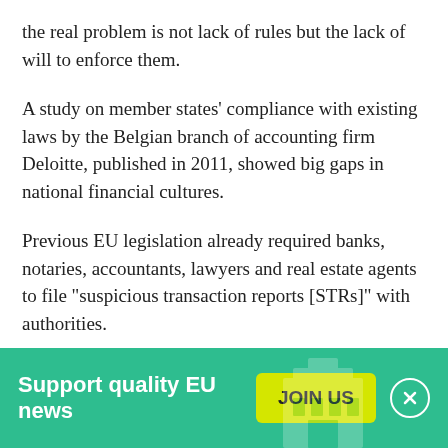the real problem is not lack of rules but the lack of will to enforce them.
A study on member states' compliance with existing laws by the Belgian branch of accounting firm Deloitte, published in 2011, showed big gaps in national financial cultures.
Previous EU legislation already required banks, notaries, accountants, lawyers and real estate agents to file "suspicious transaction reports [STRs]" with authorities.
Entities in Cyprus, an offshore banking centre, in 2009 filed 428 STRs, while entities in Estonia, which has a
[Figure (infographic): Green banner advertisement: 'Support quality EU news' with a yellow 'JOIN US' button and a close (X) button on the right. A faint building/institution icon appears in the background.]